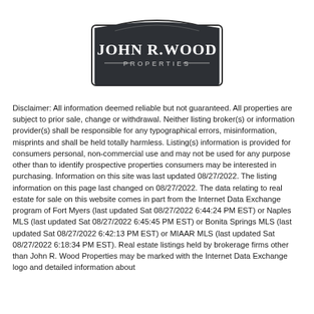[Figure (logo): John R. Wood Properties logo — dark badge/shield shape with white text]
Disclaimer: All information deemed reliable but not guaranteed. All properties are subject to prior sale, change or withdrawal. Neither listing broker(s) or information provider(s) shall be responsible for any typographical errors, misinformation, misprints and shall be held totally harmless. Listing(s) information is provided for consumers personal, non-commercial use and may not be used for any purpose other than to identify prospective properties consumers may be interested in purchasing. Information on this site was last updated 08/27/2022. The listing information on this page last changed on 08/27/2022. The data relating to real estate for sale on this website comes in part from the Internet Data Exchange program of Fort Myers (last updated Sat 08/27/2022 6:44:24 PM EST) or Naples MLS (last updated Sat 08/27/2022 6:45:45 PM EST) or Bonita Springs MLS (last updated Sat 08/27/2022 6:42:13 PM EST) or MIAAR MLS (last updated Sat 08/27/2022 6:18:34 PM EST). Real estate listings held by brokerage firms other than John R. Wood Properties may be marked with the Internet Data Exchange logo and detailed information about those properties will include the name of the listing broker(s) when required by the MLS.